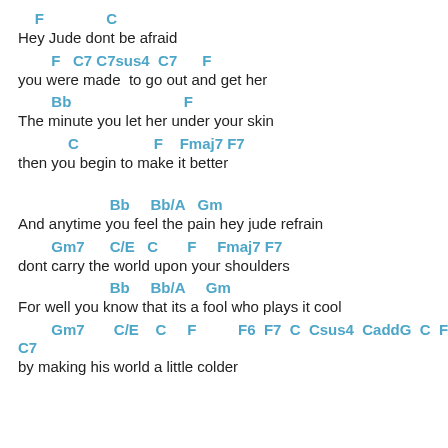F                C
Hey Jude dont be afraid
F   C7 C7sus4  C7     F
you were made  to go out and get her
Bb                         F
The minute you let her under your skin
C                   F    Fmaj7 F7
then you begin to make it better
Bb     Bb/A   Gm
And anytime you feel the pain hey jude refrain
Gm7      C/E   C       F     Fmaj7 F7
dont carry the world upon your shoulders
Bb     Bb/A     Gm
For well you know that its a fool who plays it cool
Gm7       C/E    C     F          F6  F7  C  Csus4  CaddG  C  F
C7
by making his world a little colder